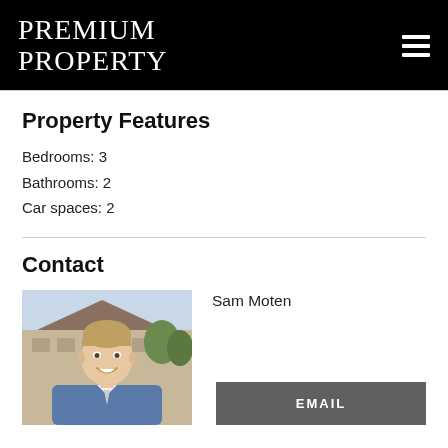PREMIUM PROPERTY
Property Features
Bedrooms: 3
Bathrooms: 2
Car spaces: 2
Contact
[Figure (photo): Headshot of Sam Moten, a smiling man in a blue suit jacket, outdoors in front of a building.]
Sam Moten
EMAIL